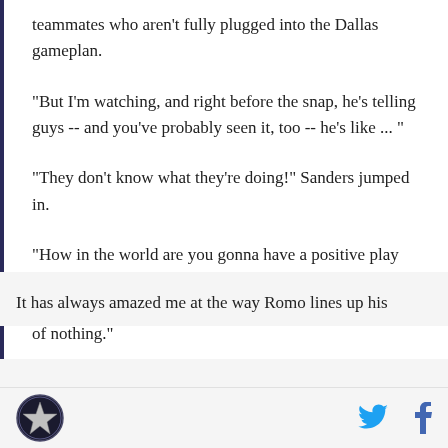teammates who aren't fully plugged into the Dallas gameplan.
"But I'm watching, and right before the snap, he's telling guys -- and you've probably seen it, too -- he's like ... "
"They don't know what they're doing!" Sanders jumped in.
"How in the world are you gonna have a positive play when the ball's coming and you're telling guys (where to line up)?" Favre went on. "But he'll make something out of nothing."
It has always amazed me at the way Romo lines up his
Dallas Cowboys logo, Twitter icon, Facebook icon